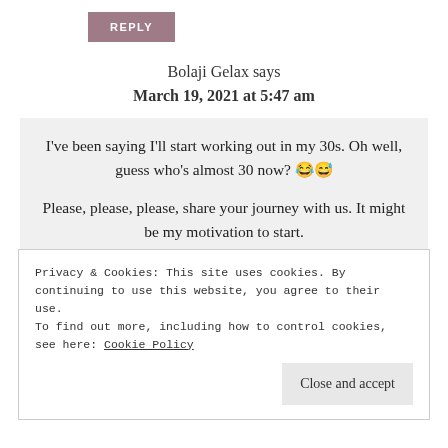REPLY
Bolaji Gelax says
March 19, 2021 at 5:47 am
I've been saying I'll start working out in my 30s. Oh well, guess who's almost 30 now? 😂😅

Please, please, please, share your journey with us. It might be my motivation to start.

8 months, 8 KG huh? It's not that bad… 🤔

★ Loading...
Privacy & Cookies: This site uses cookies. By continuing to use this website, you agree to their use.
To find out more, including how to control cookies, see here: Cookie Policy
Close and accept